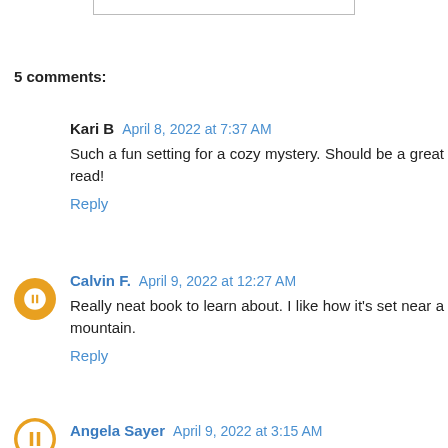5 comments:
Kari B  April 8, 2022 at 7:37 AM
Such a fun setting for a cozy mystery. Should be a great read!
Reply
Calvin F.  April 9, 2022 at 12:27 AM
Really neat book to learn about. I like how it's set near a mountain.
Reply
Angela Sayer  April 9, 2022 at 3:15 AM